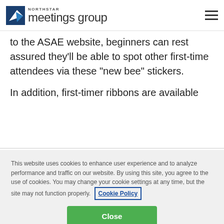[Figure (logo): Northstar Meetings Group logo with blue arrow icon]
to the ASAE website, beginners can rest assured they’ll be able to spot other first-time attendees via these “new bee” stickers.
In addition, first-timer ribbons are available
This website uses cookies to enhance user experience and to analyze performance and traffic on our website. By using this site, you agree to the use of cookies. You may change your cookie settings at any time, but the site may not function properly. Cookie Policy
Close